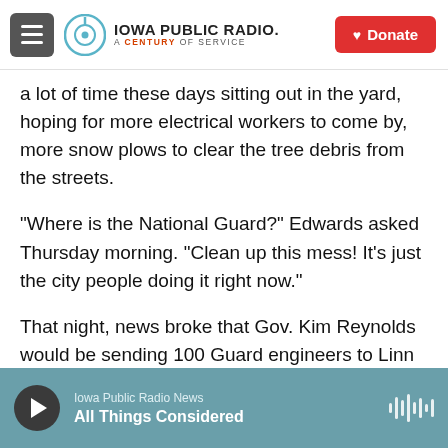Iowa Public Radio. A Century of Service. [Donate button]
a lot of time these days sitting out in the yard, hoping for more electrical workers to come by, more snow plows to clear the tree debris from the streets.
“Where is the National Guard?” Edwards asked Thursday morning. “Clean up this mess! It’s just the city people doing it right now.”
That night, news broke that Gov. Kim Reynolds would be sending 100 Guard engineers to Linn County to help with the cleanup starting Friday.
Iowa Public Radio News | All Things Considered